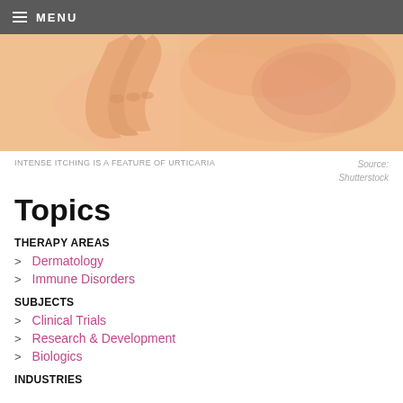MENU
[Figure (photo): Close-up photo of a person scratching their neck/shoulder area showing reddened irritated skin, illustrating intense itching from urticaria]
INTENSE ITCHING IS A FEATURE OF URTICARIA   Source: Shutterstock
Topics
THERAPY AREAS
Dermatology
Immune Disorders
SUBJECTS
Clinical Trials
Research & Development
Biologics
INDUSTRIES